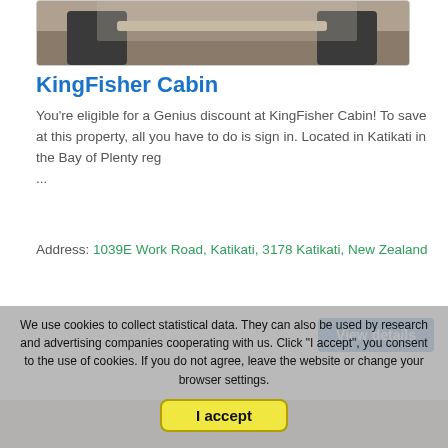[Figure (photo): Outdoor photo of KingFisher Cabin property showing deck chairs]
KingFisher Cabin
You're eligible for a Genius discount at KingFisher Cabin! To save at this property, all you have to do is sign in. Located in Katikati in the Bay of Plenty reg ...
Address: 1039E Work Road, Katikati, 3178 Katikati, New Zealand
[Figure (screenshot): View details button (blue)]
We use cookies to collect statistical data. They can also be used by research and advertising companies cooperating with us. Click "I accept", you consent to the use of cookies. If you do not agree, leave the website or change your browser settings.
[Figure (screenshot): I accept button (yellow)]